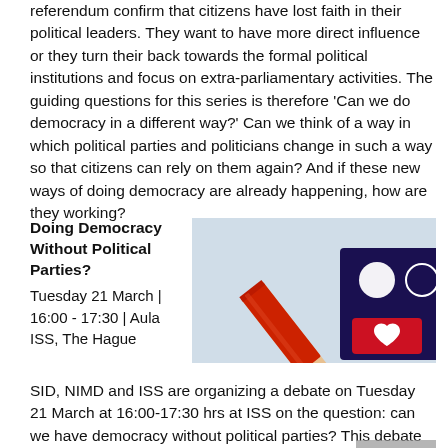referendum confirm that citizens have lost faith in their political leaders. They want to have more direct influence or they turn their back towards the formal political institutions and focus on extra-parliamentary activities. The guiding questions for this series is therefore 'Can we do democracy in a different way?' Can we think of a way in which political parties and politicians change in such a way so that citizens can rely on them again? And if these new ways of doing democracy are already happening, how are they working?
Doing Democracy Without Political Parties?
Tuesday 21 March | 16:00 - 17:30 | Aula ISS, The Hague
[Figure (photo): A red pencil resting on a voting ballot with red checkmarks, symbolizing democratic participation]
SID, NIMD and ISS are organizing a debate on Tuesday 21 March at 16:00-17:30 hrs at ISS on the question: can we have democracy without political parties? This debate is part of a series on the topic 'doing democracy differently'. This is partly